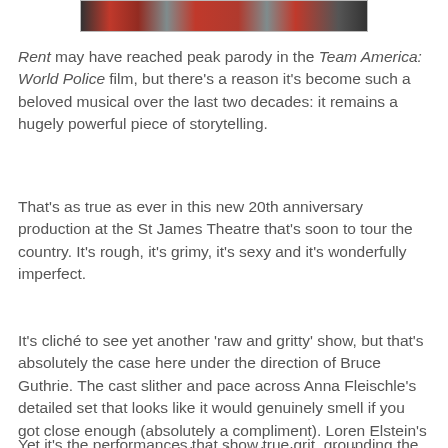[Figure (photo): Cropped top portion of a photo showing performers with red costumes, partially visible at the top of the page]
Rent may have reached peak parody in the Team America: World Police film, but there's a reason it's become such a beloved musical over the last two decades: it remains a hugely powerful piece of storytelling.
That's as true as ever in this new 20th anniversary production at the St James Theatre that's soon to tour the country. It's rough, it's grimy, it's sexy and it's wonderfully imperfect.
It's cliché to see yet another 'raw and gritty' show, but that's absolutely the case here under the direction of Bruce Guthrie. The cast slither and pace across Anna Fleischle's detailed set that looks like it would genuinely smell if you got close enough (absolutely a compliment). Loren Elstein's costume and Betty Marini's hair and makeup design are also suitably rough yet creative for this bunch of artists, drag queens, lap dancers and vagabonds.
Yet it's the performances that show true grit, grounding the